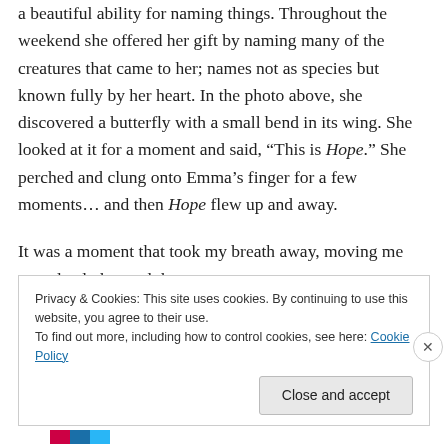a beautiful ability for naming things. Throughout the weekend she offered her gift by naming many of the creatures that came to her; names not as species but known fully by her heart. In the photo above, she discovered a butterfly with a small bend in its wing. She looked at it for a moment and said, “This is Hope.” She perched and clung onto Emma’s finger for a few moments… and then Hope flew up and away.
It was a moment that took my breath away, moving me completely beyond the moment.
Privacy & Cookies: This site uses cookies. By continuing to use this website, you agree to their use.
To find out more, including how to control cookies, see here: Cookie Policy